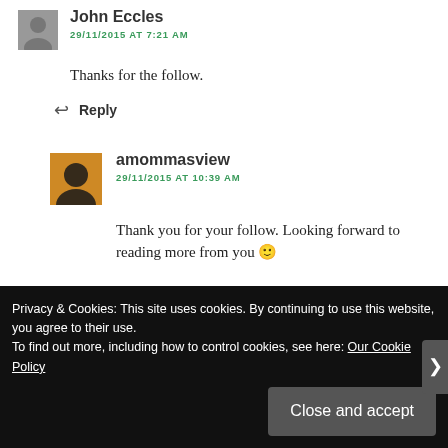[Figure (photo): Small avatar photo of John Eccles]
John Eccles
29/11/2015 AT 7:21 AM
Thanks for the follow.
Reply
[Figure (photo): Avatar photo of amommasview with silhouette]
amommasview
29/11/2015 AT 10:39 AM
Thank you for your follow. Looking forward to reading more from you 🙂
Privacy & Cookies: This site uses cookies. By continuing to use this website, you agree to their use.
To find out more, including how to control cookies, see here: Our Cookie Policy
Close and accept